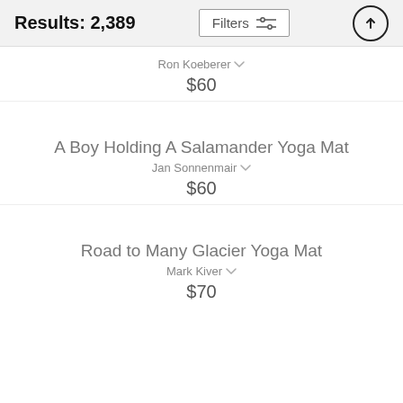Results: 2,389  Filters
Ron Koeberer  $60
A Boy Holding A Salamander Yoga Mat
Jan Sonnenmair  $60
Road to Many Glacier Yoga Mat
Mark Kiver  $70